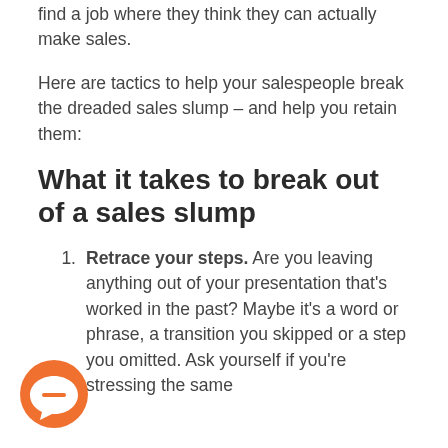find a job where they think they can actually make sales.
Here are tactics to help your salespeople break the dreaded sales slump – and help you retain them:
What it takes to break out of a sales slump
Retrace your steps. Are you leaving anything out of your presentation that's worked in the past? Maybe it's a word or phrase, a transition you skipped or a step you omitted. Ask yourself if you're stressing the same things...